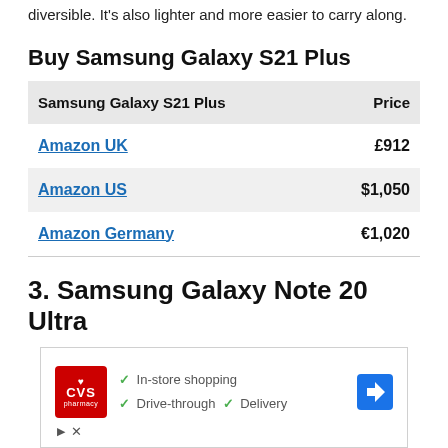diversible. It's also lighter and more easier to carry along.
Buy Samsung Galaxy S21 Plus
| Samsung Galaxy S21 Plus | Price |
| --- | --- |
| Amazon UK | £912 |
| Amazon US | $1,050 |
| Amazon Germany | €1,020 |
3. Samsung Samsung Galaxy Note 20 Ultra
[Figure (screenshot): CVS Pharmacy advertisement showing in-store shopping, drive-through, and delivery options with navigation icon]